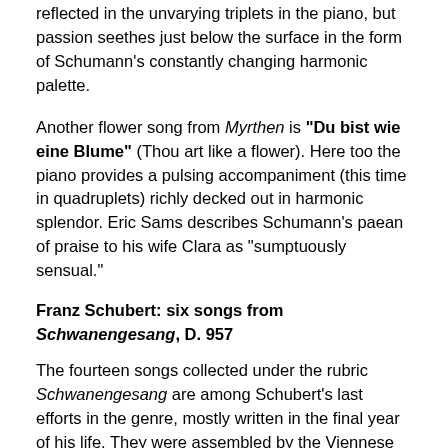reflected in the unvarying triplets in the piano, but passion seethes just below the surface in the form of Schumann's constantly changing harmonic palette.
Another flower song from Myrthen is "Du bist wie eine Blume" (Thou art like a flower). Here too the piano provides a pulsing accompaniment (this time in quadruplets) richly decked out in harmonic splendor. Eric Sams describes Schumann's paean of praise to his wife Clara as "sumptuously sensual."
Franz Schubert: six songs from Schwanengesang, D. 957
The fourteen songs collected under the rubric Schwanengesang are among Schubert's last efforts in the genre, mostly written in the final year of his life. They were assembled by the Viennese editor-publisher Tobias Haslinger in the year after Schubert died. The group comprises seven songs set to texts of Ludwig Rellstab, six to Heinrich Heine and one to Johann Seidl. The Heine songs are the only ones Schubert composed to this poet. To Schubert scholar John Reed, "their mood of bitter irony and tragic alienation is much closer to Winterreise than it is to the Rellstab songs. In a real